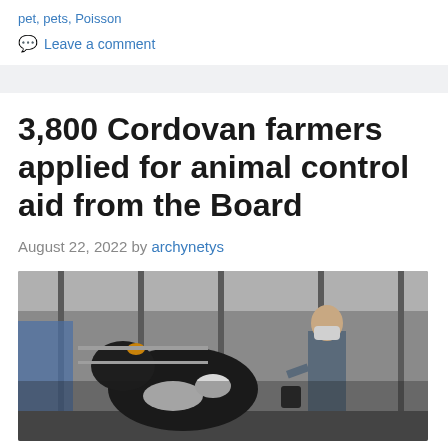pet, pets, Poisson
Leave a comment
3,800 Cordovan farmers applied for animal control aid from the Board
August 22, 2022 by archynetys
[Figure (photo): A farmer wearing a face mask tending to cattle in a barn/livestock facility. Black and white cows visible in metal stalls with a corrugated roof structure overhead.]